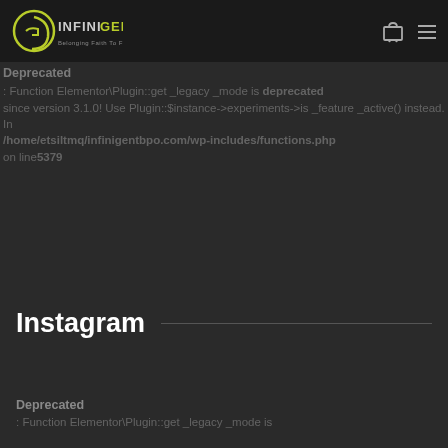[Figure (logo): InfiniGent logo with tagline 'Belonging Faith To Future' on dark header bar]
Deprecated
: Function Elementor\Plugin::get_legacy_mode is deprecated since version 3.1.0! Use Plugin::$instance->experiments->is_feature_active() instead. in /home/etsiltmq/infinigentbpo.com/wp-includes/functions.php on line 5379
Instagram
Deprecated
: Function Elementor\Plugin::get_legacy_mode is